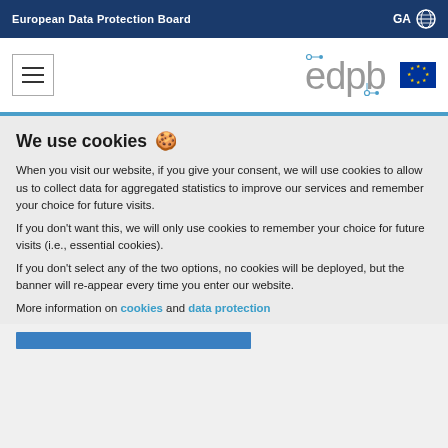European Data Protection Board   GA 🌐
[Figure (logo): Hamburger menu icon in a box on the left; EDPB logo text with circuit-style dots and EU flag on the right]
We use cookies 🍪
When you visit our website, if you give your consent, we will use cookies to allow us to collect data for aggregated statistics to improve our services and remember your choice for future visits.
If you don't want this, we will only use cookies to remember your choice for future visits (i.e., essential cookies).
If you don't select any of the two options, no cookies will be deployed, but the banner will re-appear every time you enter our website.
More information on cookies and data protection